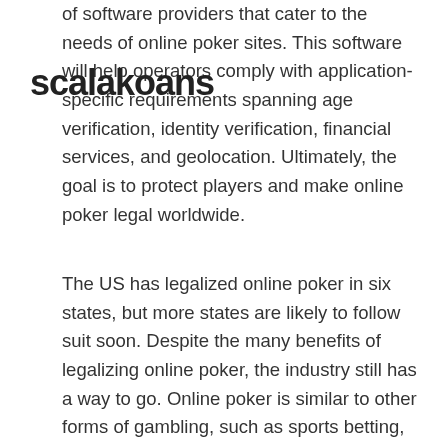of software providers that cater to the needs of online poker sites. This software will help operators comply with application-specific requirements spanning age verification, identity verification, financial services, and geolocation. Ultimately, the goal is to protect players and make online poker legal worldwide.
The US has legalized online poker in six states, but more states are likely to follow suit soon. Despite the many benefits of legalizing online poker, the industry still has a way to go. Online poker is similar to other forms of gambling, such as sports betting, and is growing in popularity among American consumers. As more states legalize online poker, more online poker rooms will pop up, and the industry is expected to boom. As a result, online poker has become a major source of revenue for